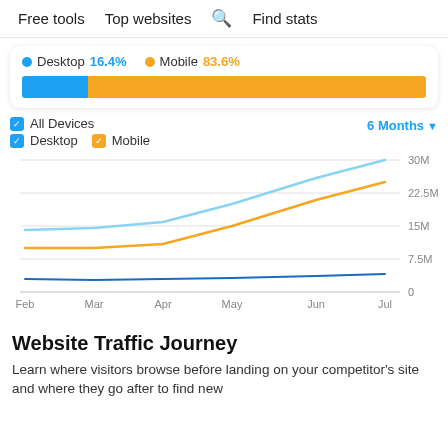Free tools   Top websites   🔍 Find stats
[Figure (infographic): Desktop 16.4% and Mobile 83.6% split shown with colored dot legend and a horizontal stacked bar chart (blue for desktop, gold/yellow for mobile).]
[Figure (line-chart): All Devices – 6 Months]
Website Traffic Journey
Learn where visitors browse before landing on your competitor's site and where they go after to find new